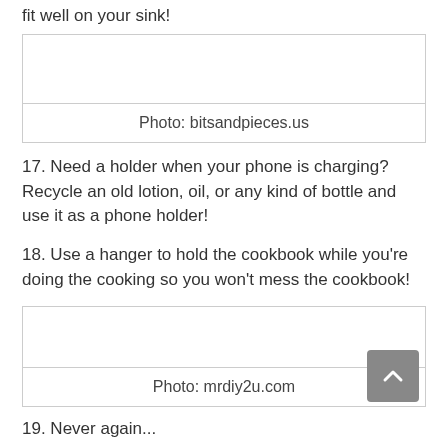fit well on your sink!
[Figure (photo): Photo placeholder box with caption 'Photo: bitsandpieces.us']
Photo: bitsandpieces.us
17. Need a holder when your phone is charging? Recycle an old lotion, oil, or any kind of bottle and use it as a phone holder!
18. Use a hanger to hold the cookbook while you're doing the cooking so you won't mess the cookbook!
[Figure (photo): Photo placeholder box with caption 'Photo: mrdiy2u.com']
Photo: mrdiy2u.com
19. Never again...